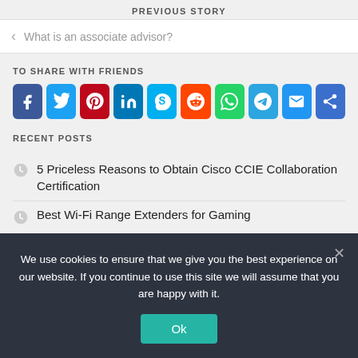PREVIOUS STORY
What is an associate advisor?
TO SHARE WITH FRIENDS
[Figure (infographic): Social sharing icons row: Facebook, Twitter, Pinterest, LinkedIn, Skype, Reddit, WhatsApp, Telegram, Email, Share]
RECENT POSTS
5 Priceless Reasons to Obtain Cisco CCIE Collaboration Certification
Best Wi-Fi Range Extenders for Gaming
We use cookies to ensure that we give you the best experience on our website. If you continue to use this site we will assume that you are happy with it.